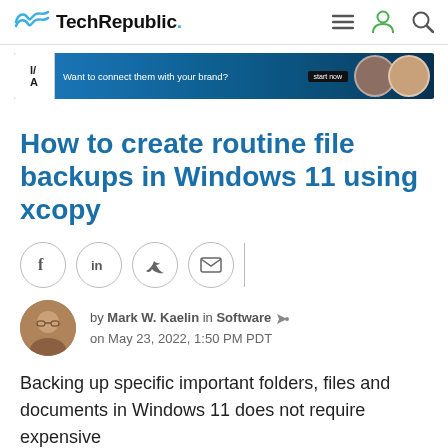TechRepublic
[Figure (photo): TechRepublic logo with wave icon]
[Figure (photo): Advertisement banner: Want to connect them with your brand? with people photos]
How to create routine file backups in Windows 11 using xcopy
[Figure (infographic): Social sharing icons: Facebook, LinkedIn, Twitter, Email]
by Mark W. Kaelin in Software on May 23, 2022, 1:50 PM PDT
Backing up specific important folders, files and documents in Windows 11 does not require expensive